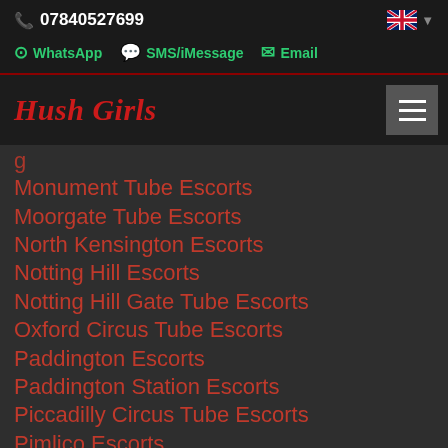📞 07840527699
WhatsApp  SMS/iMessage  Email
Hush Girls
Monument Tube Escorts
Moorgate Tube Escorts
North Kensington Escorts
Notting Hill Escorts
Notting Hill Gate Tube Escorts
Oxford Circus Tube Escorts
Paddington Escorts
Paddington Station Escorts
Piccadilly Circus Tube Escorts
Pimlico Escorts
Queensway Tube Escorts